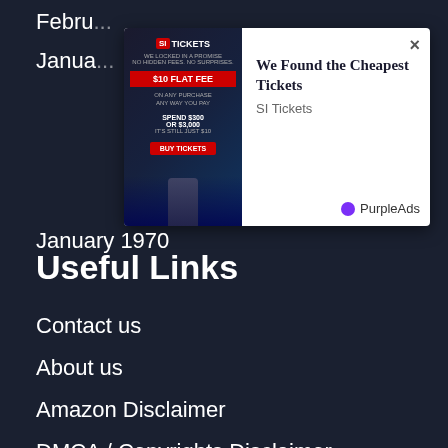Febru...
Janua...
[Figure (screenshot): Advertisement overlay showing SI Tickets ad with text 'We Found the Cheapest Tickets' and 'SI Tickets' source, with PurpleAds branding and a close button. Left side shows a football player image with '$10 FLAT FEE' promotion.]
January 1970
Useful Links
Contact us
About us
Amazon Disclaimer
DMCA / Copyrights Disclaimer
Privacy Policy
Terms and Conditions
Press Room